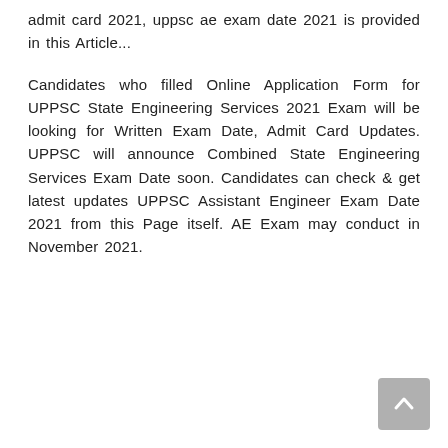admit card 2021, uppsc ae exam date 2021 is provided in this Article...
Candidates who filled Online Application Form for UPPSC State Engineering Services 2021 Exam will be looking for Written Exam Date, Admit Card Updates. UPPSC will announce Combined State Engineering Services Exam Date soon. Candidates can check & get latest updates UPPSC Assistant Engineer Exam Date 2021 from this Page itself. AE Exam may conduct in November 2021.